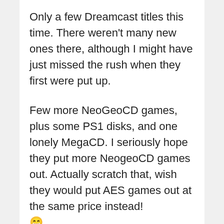Only a few Dreamcast titles this time. There weren't many new ones there, although I might have just missed the rush when they first were put up.
Few more NeoGeoCD games, plus some PS1 disks, and one lonely MegaCD. I seriously hope they put more NeogeoCD games out. Actually scratch that, wish they would put AES games out at the same price instead! 😁
A nice boxed PCEngine Duo. I gave this a quick test and the sound seemed a little bit quiet, so it might need a cap replacement